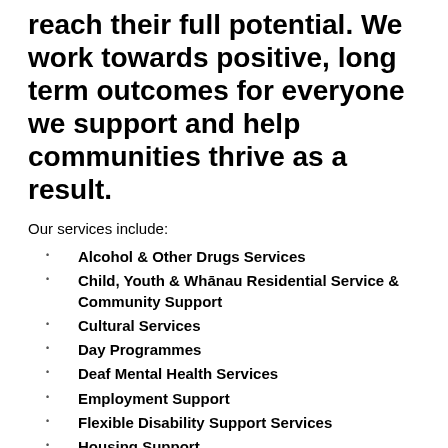reach their full potential. We work towards positive, long term outcomes for everyone we support and help communities thrive as a result.
Our services include:
Alcohol & Other Drugs Services
Child, Youth & Whānau Residential Service & Community Support
Cultural Services
Day Programmes
Deaf Mental Health Services
Employment Support
Flexible Disability Support Services
Housing Support
Intellectual Disability Support Services
Mobile Community Support Service